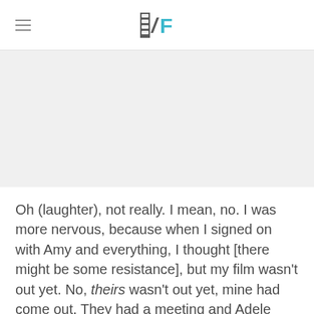/Film
[Figure (other): Gray placeholder image area]
Oh (laughter), not really. I mean, no. I was more nervous, because when I signed on with Amy and everything, I thought [there might be some resistance], but my film wasn't out yet. No, theirs wasn't out yet, mine had come out. They had a meeting and Adele called about doing this film, so it